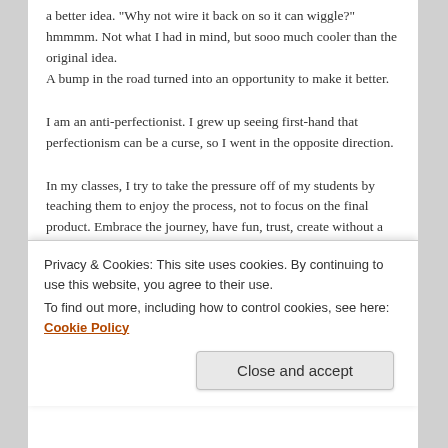a better idea. "Why not wire it back on so it can wiggle?" hmmmm. Not what I had in mind, but sooo much cooler than the original idea.
A bump in the road turned into an opportunity to make it better.
I am an anti-perfectionist. I grew up seeing first-hand that perfectionism can be a curse, so I went in the opposite direction.
In my classes, I try to take the pressure off of my students by teaching them to enjoy the process, not to focus on the final product. Embrace the journey, have fun, trust, create without a pre-conceived notion of what you want your art to look like. In this instance, I did not take my own
Privacy & Cookies: This site uses cookies. By continuing to use this website, you agree to their use.
To find out more, including how to control cookies, see here: Cookie Policy